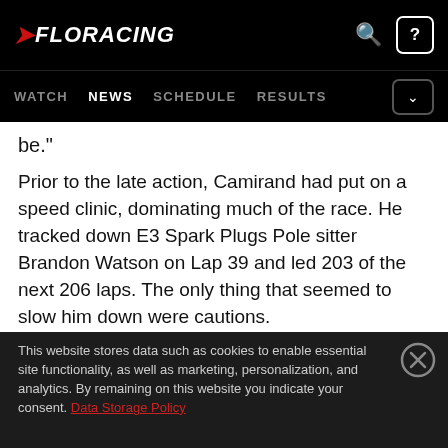FLORACING — WATCH NEWS SCHEDULE RESULTS
be."
Prior to the late action, Camirand had put on a speed clinic, dominating much of the race. He tracked down E3 Spark Plugs Pole sitter Brandon Watson on Lap 39 and led 203 of the next 206 laps. The only thing that seemed to slow him down were cautions.
This website stores data such as cookies to enable essential site functionality, as well as marketing, personalization, and analytics. By remaining on this website you indicate your consent. Data Storage Policy